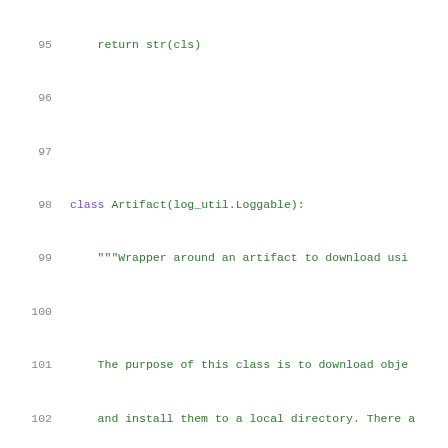[Figure (screenshot): Source code viewer showing Python class definition with line numbers 95-116. Green monospace text on white background. Lines show a class Artifact inheriting from log_util.Loggable with docstring explaining its purpose.]